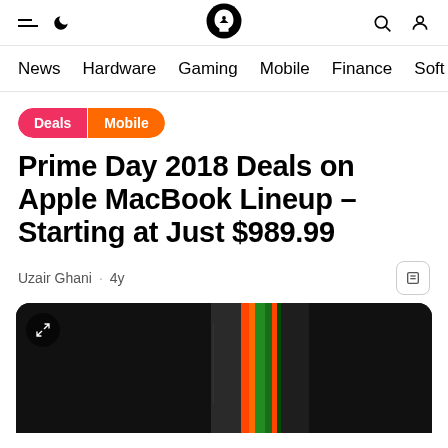Hamburger menu | Moon icon | Logo (Notebookcheck) | Search | User
News | Hardware | Gaming | Mobile | Finance | Soft
Deals | Mobile
Prime Day 2018 Deals on Apple MacBook Lineup – Starting at Just $989.99
Uzair Ghani · 4y
[Figure (photo): MacBook product photo on dark background with orange/green abstract design]